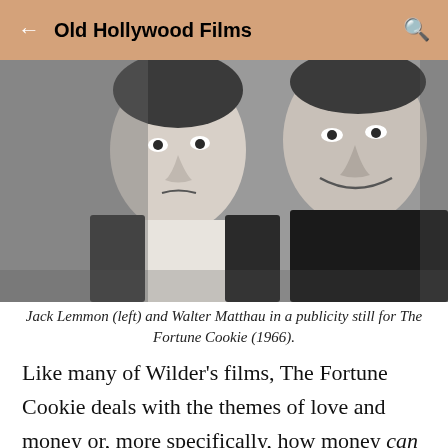Old Hollywood Films
[Figure (photo): Black and white publicity still of Jack Lemmon (left) and Walter Matthau for The Fortune Cookie (1966). Two men facing the camera, one with a worried expression, the other smiling broadly.]
Jack Lemmon (left) and Walter Matthau in a publicity still for The Fortune Cookie (1966).
Like many of Wilder's films, The Fortune Cookie deals with the themes of love and money or, more specifically, how money can buy you love or at least a pretty decent imitation of it. In Double Indemnity (1944), Walter Neff (Fred MacMurray) lures Phyllis Dietrichson (Barbara Stanwyck) with